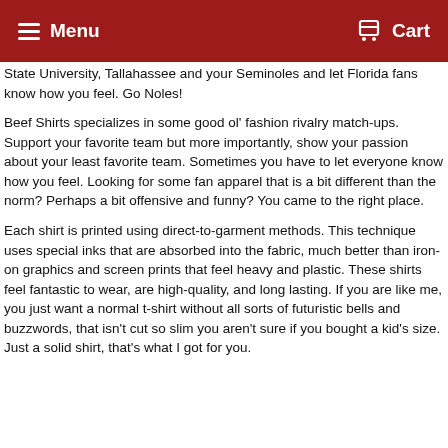Menu   Cart
State University, Tallahassee and your Seminoles and let Florida fans know how you feel.  Go Noles!
Beef Shirts specializes in some good ol' fashion rivalry match-ups.  Support your favorite team but more importantly, show your passion about your least favorite team.  Sometimes you have to let everyone know how you feel.  Looking for some fan apparel that is a bit different than the norm?  Perhaps a bit offensive and funny?  You came to the right place.
Each shirt is printed using direct-to-garment methods.  This technique uses special inks that are absorbed into the fabric, much better than iron-on graphics and screen prints that feel heavy and plastic.  These shirts feel fantastic to wear, are high-quality, and long lasting.  If you are like me, you just want a normal t-shirt without all sorts of futuristic bells and buzzwords, that isn't cut so slim you aren't sure if you bought a kid's size.  Just a solid shirt, that's what I got for you.